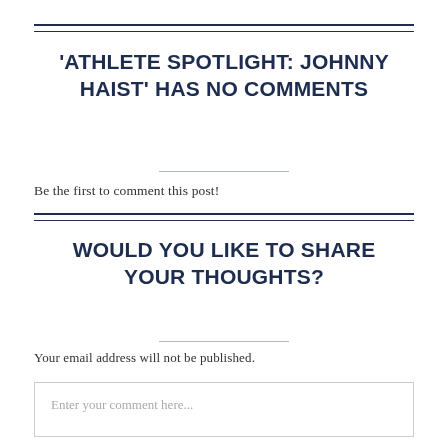'ATHLETE SPOTLIGHT: JOHNNY HAIST' HAS NO COMMENTS
Be the first to comment this post!
WOULD YOU LIKE TO SHARE YOUR THOUGHTS?
Your email address will not be published.
Enter your comment here...